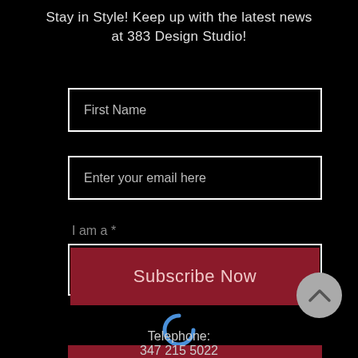Stay in Style! Keep up with the latest news at 383 Design Studio!
First Name
Enter your email here
I am a *
I am a
[Figure (illustration): Blue loading spinner / crescent moon shaped spinner icon]
Subscribe Now
[Figure (illustration): Back to top button - circular grey button with upward chevron arrow]
Telephone:
347 215 5022